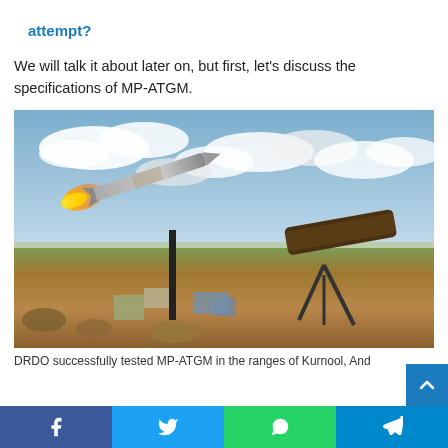attempt?
We will talk it about later on, but first, let's discuss the specifications of MP-ATGM.
[Figure (photo): Photograph of an MP-ATGM missile being launched from a ground launcher at a test range. The missile is airborne with a bright flame exhaust visible. The background shows a semi-arid landscape with blue sky and clouds. A launcher tube/tripod is visible on the right side of the image.]
DRDO successfully tested MP-ATGM in the ranges of Kurnool, And